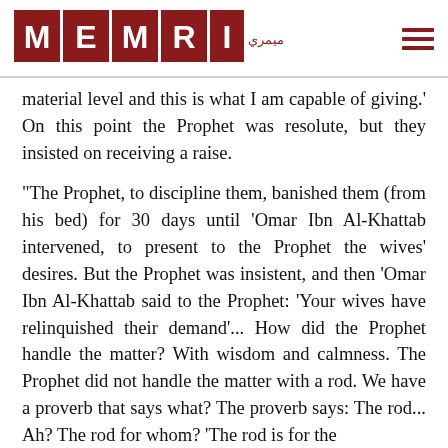MEMRI
material level and this is what I am capable of giving.' On this point the Prophet was resolute, but they insisted on receiving a raise.
"The Prophet, to discipline them, banished them (from his bed) for 30 days until 'Omar Ibn Al-Khattab intervened, to present to the Prophet the wives' desires. But the Prophet was insistent, and then 'Omar Ibn Al-Khattab said to the Prophet: 'Your wives have relinquished their demand'... How did the Prophet handle the matter? With wisdom and calmness. The Prophet did not handle the matter with a rod. We have a proverb that says what? The proverb says: The rod... Ah? The rod for whom? 'The rod is for the